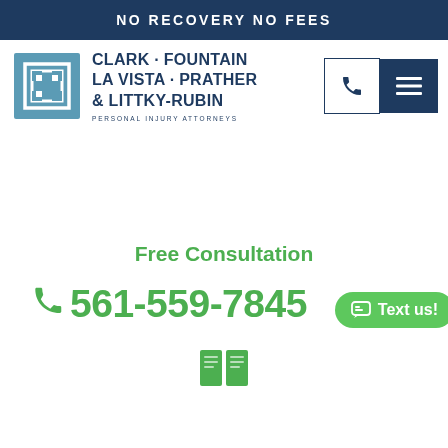NO RECOVERY NO FEES
[Figure (logo): Clark Fountain La Vista Prather & Littky-Rubin law firm logo with stylized square icon and firm name]
PERSONAL INJURY ATTORNEYS
Free Consultation
561-559-7845
[Figure (other): Green 'Text us!' chat button with chat bubble icon]
[Figure (other): Green book/document icon at bottom]